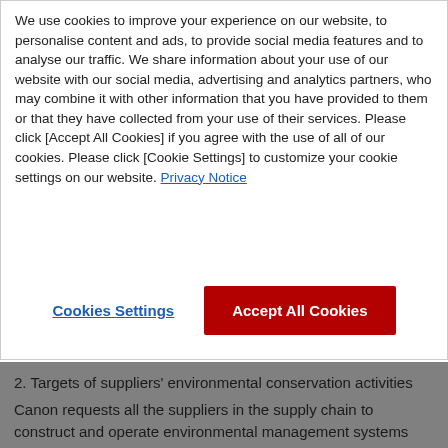We use cookies to improve your experience on our website, to personalise content and ads, to provide social media features and to analyse our traffic. We share information about your use of our website with our social media, advertising and analytics partners, who may combine it with other information that you have provided to them or that they have collected from your use of their services. Please click [Accept All Cookies] if you agree with the use of all of our cookies. Please click [Cookie Settings] to customize your cookie settings on our website. Privacy Notice
Cookies Settings
Accept All Cookies
2. Targets of suppliers' environmental conservation activities
Canon requests all the suppliers in the supply chain to construct and operate environmental management systems related to business activities and systems for management of chemical